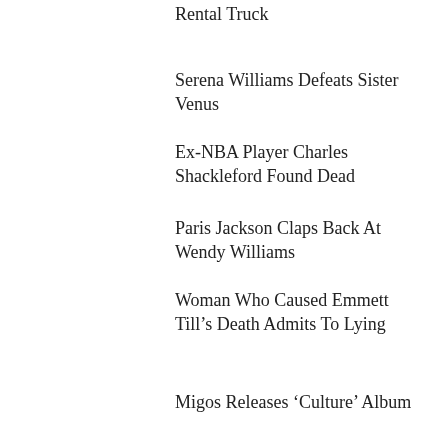Rental Truck
Serena Williams Defeats Sister Venus
Ex-NBA Player Charles Shackleford Found Dead
Paris Jackson Claps Back At Wendy Williams
Woman Who Caused Emmett Till's Death Admits To Lying
Migos Releases ‘Culture’ Album
LATEST FROM
4 The Missing  /  4UMF Exclusive  /  4UMF Sweepst
[Figure (photo): Small thumbnail image of a person]
Woman, Great-